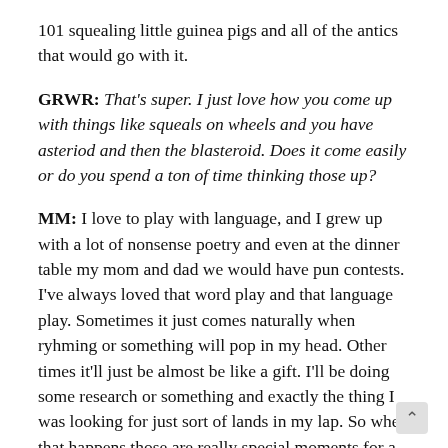101 squealing little guinea pigs and all of the antics that would go with it.
GRWR: That's super. I just love how you come up with things like squeals on wheels and you have asteriod and then the blasteroid. Does it come easily or do you spend a ton of time thinking those up?
MM: I love to play with language, and I grew up with a lot of nonsense poetry and even at the dinner table my mom and dad we would have pun contests. I've always loved that word play and that language play. Sometimes it just comes naturally when ryhming or something will pop in my head. Other times it'll just be almost be like a gift. I'll be doing some research or something and exactly the thing I was looking for just sort of lands in my lap. So when that happens those are really special moments for a writer.